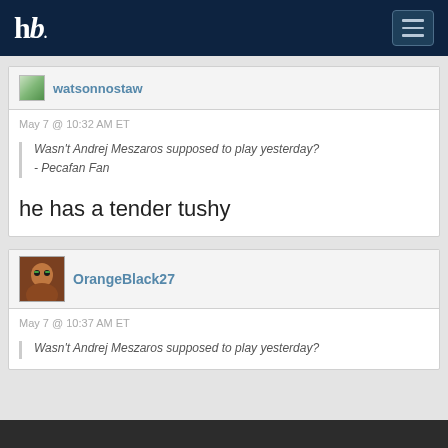hb [hamburger menu]
watsonnostaw
May 7 @ 10:32 AM ET
Wasn't Andrej Meszaros supposed to play yesterday?
- Pecafan Fan
he has a tender tushy
OrangeBlack27
May 7 @ 10:37 AM ET
Wasn't Andrej Meszaros supposed to play yesterday?